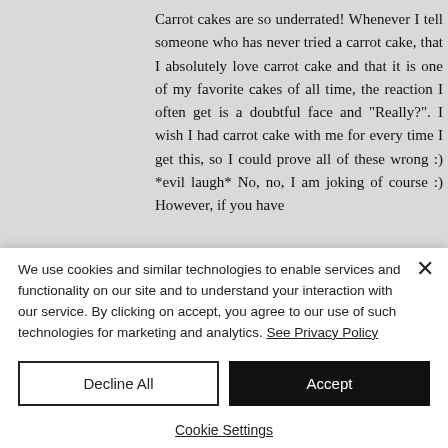Carrot cakes are so underrated! Whenever I tell someone who has never tried a carrot cake, that I absolutely love carrot cake and that it is one of my favorite cakes of all time, the reaction I often get is a doubtful face and "Really?". I wish I had carrot cake with me for every time I get this, so I could prove all of these wrong :) *evil laugh* No, no, I am joking of course :) However, if you have
We use cookies and similar technologies to enable services and functionality on our site and to understand your interaction with our service. By clicking on accept, you agree to our use of such technologies for marketing and analytics. See Privacy Policy
Decline All
Accept
Cookie Settings